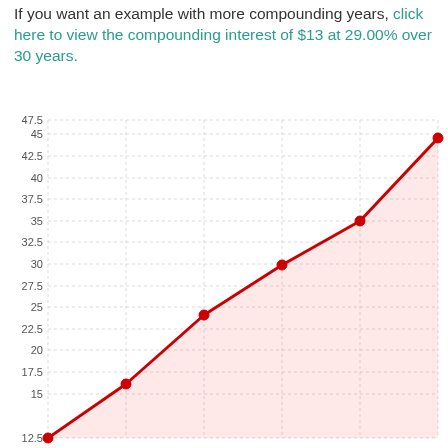If you want an example with more compounding years, click here to view the compounding interest of $13 at 29.00% over 30 years.
[Figure (area-chart): Compounding interest of $13 at 29.00%]